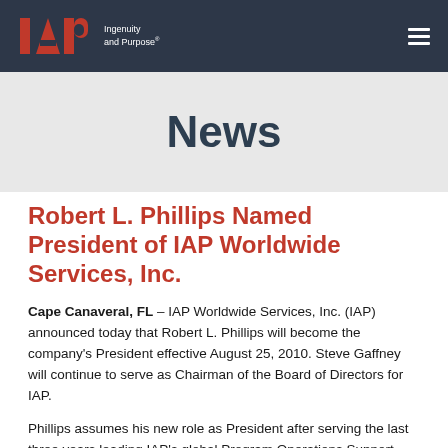IAP Ingenuity and Purpose
News
Robert L. Phillips Named President of IAP Worldwide Services, Inc.
Cape Canaveral, FL – IAP Worldwide Services, Inc. (IAP) announced today that Robert L. Phillips will become the company's President effective August 25, 2010. Steve Gaffney will continue to serve as Chairman of the Board of Directors for IAP.
Phillips assumes his new role as President after serving the last three years leading IAP's global Program Operations Support Center...